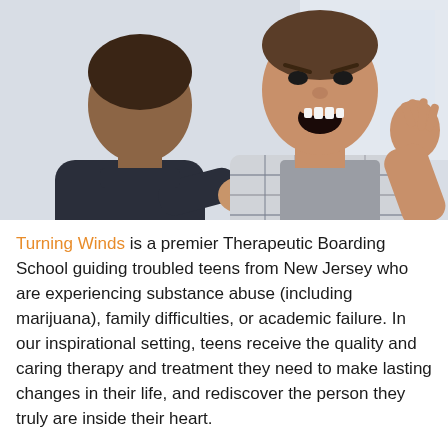[Figure (photo): Two young men in a heated argument. One man (seen from behind, wearing a dark hoodie) has his fist raised toward the other man (facing forward, wearing a plaid shirt over grey t-shirt) who is shouting with his mouth open and hand raised defensively. The background is a blurred indoor setting.]
Turning Winds is a premier Therapeutic Boarding School guiding troubled teens from New Jersey who are experiencing substance abuse (including marijuana), family difficulties, or academic failure. In our inspirational setting, teens receive the quality and caring therapy and treatment they need to make lasting changes in their life, and rediscover the person they truly are inside their heart.